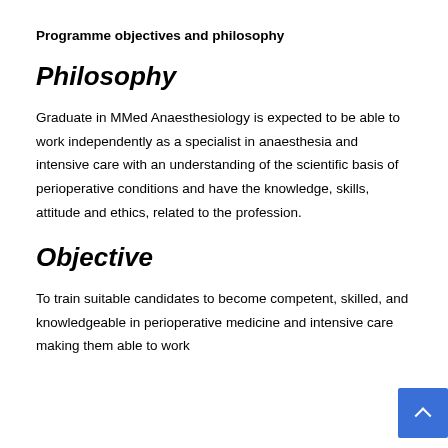Programme objectives and philosophy
Philosophy
Graduate in MMed Anaesthesiology is expected to be able to work independently as a specialist in anaesthesia and intensive care with an understanding of the scientific basis of perioperative conditions and have the knowledge, skills, attitude and ethics, related to the profession.
Objective
To train suitable candidates to become competent, skilled, and knowledgeable in perioperative medicine and intensive care making them able to work